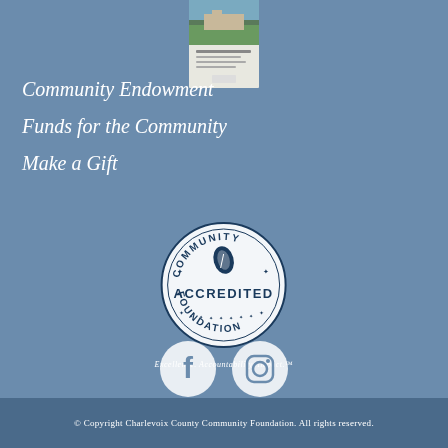[Figure (photo): Brochure/pamphlet image showing a building/landscape at top]
Community Endowment
Funds for the Community
Make a Gift
[Figure (logo): Community Accredited Foundation seal/badge logo]
Excellence. Accountability. Impact.™
[Figure (other): Facebook and Instagram social media icons]
© Copyright Charlevoix County Community Foundation. All rights reserved.